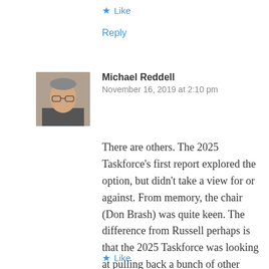★ Like
Reply
Michael Reddell
November 16, 2019 at 2:10 pm
There are others. The 2025 Taskforce's first report explored the option, but didn't take a view for or against. From memory, the chair (Don Brash) was quite keen. The difference from Russell perhaps is that the 2025 Taskforce was looking at pulling back a bunch of other spending, not increasing the overall govt spend.
★ Like